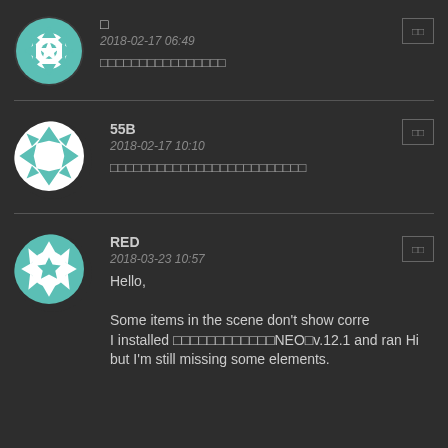□
2018-02-17 06:49
□□□□□□□□□□□□□□□□
55B
2018-02-17 10:10
□□□□□□□□□□□□□□□□□□□□□□□□□
RED
2018-03-23 10:57
Hello,

Some items in the scene don't show corre I installed □□□□□□□□□□□□NEO□v.12.1 and ran Hi but I'm still missing some elements.